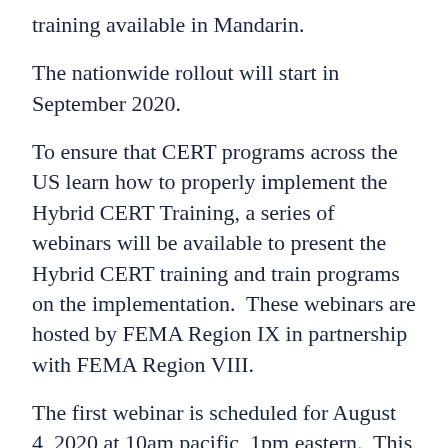training available in Mandarin.
The nationwide rollout will start in September 2020.
To ensure that CERT programs across the US learn how to properly implement the Hybrid CERT Training, a series of webinars will be available to present the Hybrid CERT training and train programs on the implementation.  These webinars are hosted by FEMA Region IX in partnership with FEMA Region VIII.
The first webinar is scheduled for August 4, 2020 at 10am pacific, 1pm eastern.  This webinar is for State and Territory CERT Coordinators and interested CERT Program Managers.  The Utah team will give an overview of the training and answer any questions that